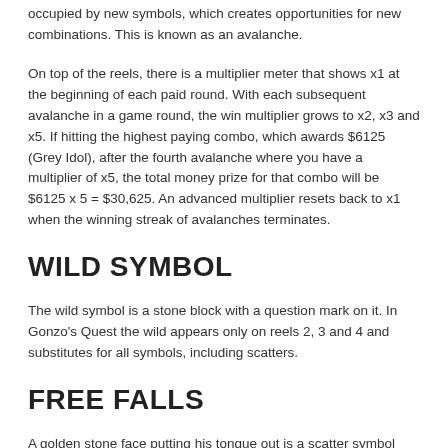occupied by new symbols, which creates opportunities for new combinations. This is known as an avalanche.
On top of the reels, there is a multiplier meter that shows x1 at the beginning of each paid round. With each subsequent avalanche in a game round, the win multiplier grows to x2, x3 and x5. If hitting the highest paying combo, which awards $6125 (Grey Idol), after the fourth avalanche where you have a multiplier of x5, the total money prize for that combo will be $6125 x 5 = $30,625. An advanced multiplier resets back to x1 when the winning streak of avalanches terminates.
WILD SYMBOL
The wild symbol is a stone block with a question mark on it. In Gonzo's Quest the wild appears only on reels 2, 3 and 4 and substitutes for all symbols, including scatters.
FREE FALLS
A golden stone face putting his tongue out is a scatter symbol that lands on reels 1, 2 and 3. In fact, this is not a scatter because it must land on a payline from left to right, like any